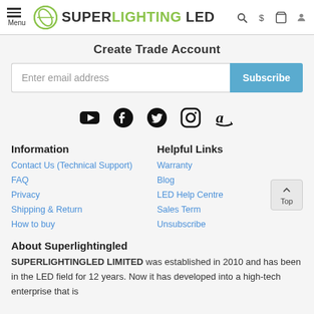Super Lighting LED - Menu, Search, $, Cart, Account icons
Create Trade Account
Enter email address [Subscribe button]
[Figure (infographic): Social media icons: YouTube, Facebook, Twitter, Instagram, Amazon]
Information
Contact Us (Technical Support)
FAQ
Privacy
Shipping & Return
How to buy
Helpful Links
Warranty
Blog
LED Help Centre
Sales Term
Unsubscribe
About Superlightingled
SUPERLIGHTINGLED LIMITED was established in 2010 and has been in the LED field for 12 years. Now it has developed into a high-tech enterprise that is